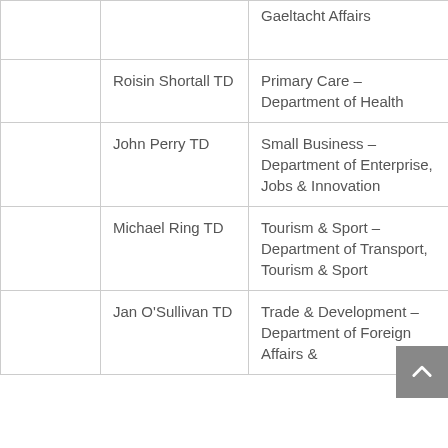|  | Name | Role |
| --- | --- | --- |
|  |  | Gaeltacht Affairs |
|  | Roisin Shortall TD | Primary Care – Department of Health |
|  | John Perry TD | Small Business – Department of Enterprise, Jobs & Innovation |
|  | Michael Ring TD | Tourism & Sport – Department of Transport, Tourism & Sport |
|  | Jan O'Sullivan TD | Trade & Development – Department of Foreign Affairs & |